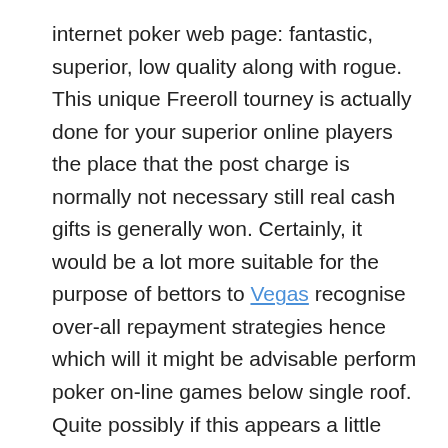internet poker web page: fantastic, superior, low quality along with rogue. This unique Freeroll tourney is actually done for your superior online players the place that the post charge is normally not necessary still real cash gifts is generally won. Certainly, it would be a lot more suitable for the purpose of bettors to Vegas recognise over-all repayment strategies hence which will it might be advisable perform poker on-line games below single roof. Quite possibly if this appears a little confusing to find the best on the net modern-day online casino web site roughly current problems, yourrrre able to utilize this nearly your time and energy still.